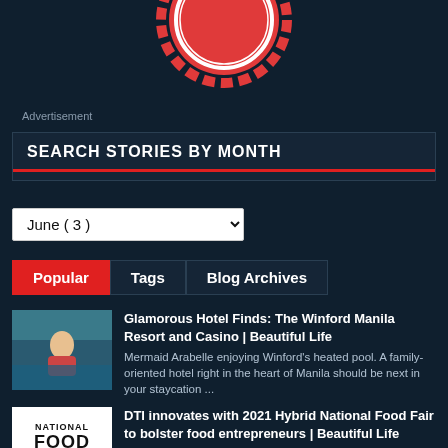[Figure (logo): Partially visible red badge/seal logo at top of page]
Advertisement
SEARCH STORIES BY MONTH
June ( 3 )
Popular  Tags  Blog Archives
[Figure (photo): Photo of a person in a pool at Winford Manila Resort]
Glamorous Hotel Finds: The Winford Manila Resort and Casino | Beautiful Life
Mermaid Arabelle enjoying Winford's heated pool. A family-oriented hotel right in the heart of Manila should be next in your staycation ...
[Figure (logo): National Food Fair logo in black and white]
DTI innovates with 2021 Hybrid National Food Fair to bolster food entrepreneurs | Beautiful Life
With the challenges brought on by the COVID-19 pandemic, the DTI-Bureau of Domestic Trade Promotion is introducing innovations to help Filip.